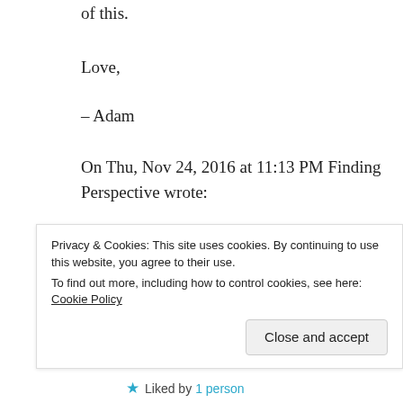of this.
Love,
– Adam
On Thu, Nov 24, 2016 at 11:13 PM Finding Perspective wrote:
> esthermoore posted: “Sitting on our kitchen counter is a block print of a > Banksy work of street art. Since Bristol-based celebrated graffiti
Privacy & Cookies: This site uses cookies. By continuing to use this website, you agree to their use.
To find out more, including how to control cookies, see here: Cookie Policy
Close and accept
Liked by 1 person